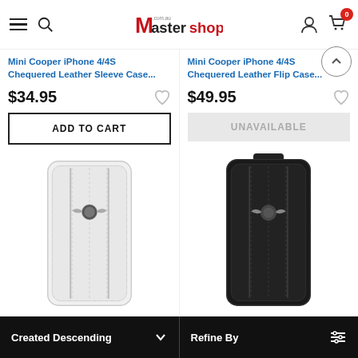Mastershop
Mini Cooper iPhone 4/4S Chequered Leather Sleeve Case...
Mini Cooper iPhone 4/4S Chequered Leather Flip Case...
$34.95
$49.95
ADD TO CART
UNAVAILABLE
[Figure (photo): White Mini Cooper iPhone leather flip case with stitched panels and Mini wings logo]
[Figure (photo): Black Mini Cooper iPhone leather flip case with stitched panels and Mini wings logo]
Created Descending   Refine By